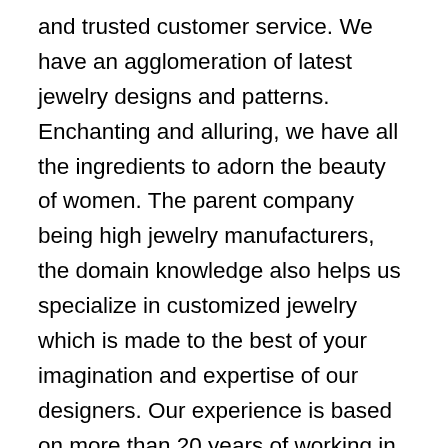and trusted customer service. We have an agglomeration of latest jewelry designs and patterns. Enchanting and alluring, we have all the ingredients to adorn the beauty of women. The parent company being high jewelry manufacturers, the domain knowledge also helps us specialize in customized jewelry which is made to the best of your imagination and expertise of our designers. Our experience is based on more than 20 years of working in the global jewelry industry, specializing in the manufacturing of fine jewelry in 18K gold with diamonds and other precious and semi-precious gems. Our seasoned and talented team members are GIA trained gemologists who have a passion for working with fine jewels on a daily basis and helping customers to make important decisions regarding purchasing pieces. We also encourage